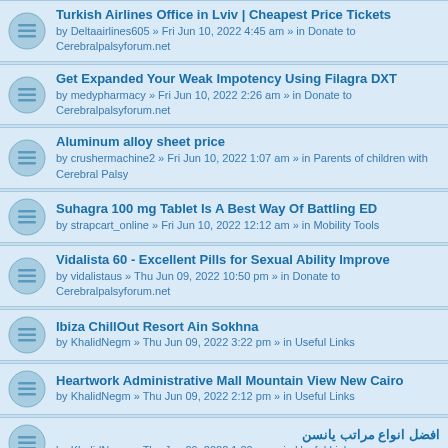Turkish Airlines Office in Lviv | Cheapest Price Tickets
by Deltaairlines605 » Fri Jun 10, 2022 4:45 am » in Donate to Cerebralpalsyforum.net
Get Expanded Your Weak Impotency Using Filagra DXT
by medypharmacy » Fri Jun 10, 2022 2:26 am » in Donate to Cerebralpalsyforum.net
Aluminum alloy sheet price
by crushermachine2 » Fri Jun 10, 2022 1:07 am » in Parents of children with Cerebral Palsy
Suhagra 100 mg Tablet Is A Best Way Of Battling ED
by strapcart_online » Fri Jun 10, 2022 12:12 am » in Mobility Tools
Vidalista 60 - Excellent Pills for Sexual Ability Improve
by vidalistaus » Thu Jun 09, 2022 10:50 pm » in Donate to Cerebralpalsyforum.net
Ibiza ChillOut Resort Ain Sokhna
by KhalidNegm » Thu Jun 09, 2022 3:22 pm » in Useful Links
Heartwork Administrative Mall Mountain View New Cairo
by KhalidNegm » Thu Jun 09, 2022 2:12 pm » in Useful Links
افضل انواع مراتب يانسن
by KhalidNegm » Thu Jun 09, 2022 1:20 pm » in Useful Links
Huawei Store
by essentia231 » Thu Jun 09, 2022 11:44 am » in Donate to Cerebralpalsyforum.net
decoration
by saidsamir » Thu Jun 09, 2022 8:47 am » in Donate to Cerebralpalsyforum.net
Fildena 50mg Tablets, *********, Sildenafil Citrate Tablets
by strapcart_online » Thu Jun 09, 2022 3:34 am » in Mobility Tools